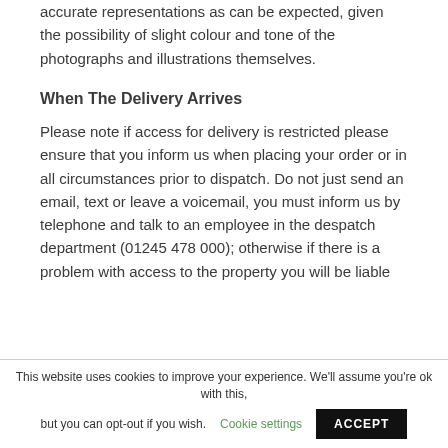accurate representations as can be expected, given the possibility of slight colour and tone of the photographs and illustrations themselves.
When The Delivery Arrives
Please note if access for delivery is restricted please ensure that you inform us when placing your order or in all circumstances prior to dispatch. Do not just send an email, text or leave a voicemail, you must inform us by telephone and talk to an employee in the despatch department (01245 478 000); otherwise if there is a problem with access to the property you will be liable
This website uses cookies to improve your experience. We'll assume you're ok with this, but you can opt-out if you wish. Cookie settings ACCEPT